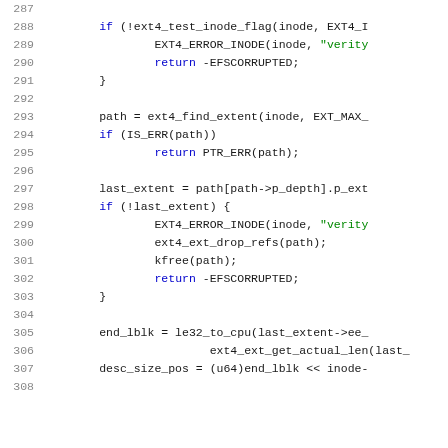[Figure (screenshot): Source code listing (C language) showing lines 287-307 of a Linux kernel ext4 filesystem function. Lines show inode flag checking, error handling with EXT4_ERROR_INODE, return of -EFSCORRUPTED, ext4_find_extent call, IS_ERR check, last_extent assignment, conditional error block with ext4_ext_drop_refs and kfree calls, and end_lblk/desc_size_pos calculations. Line numbers are shown in grey on the left. Keywords and string literals are syntax-highlighted.]